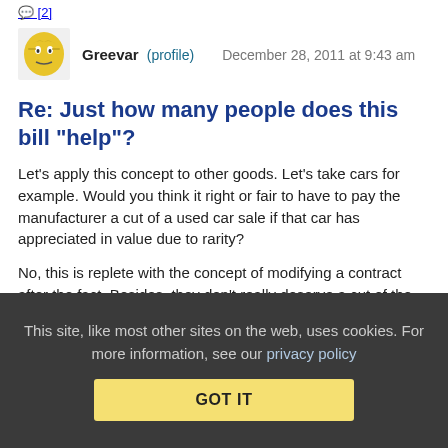[2]
Greevar (profile)   December 28, 2011 at 9:43 am
Re: Just how many people does this bill "help"?
Let's apply this concept to other goods. Let's take cars for example. Would you think it right or fair to have to pay the manufacturer a cut of a used car sale if that car has appreciated in value due to rarity?
No, this is replete with the concept of modifying a contract after the fact. Besides, they don't really deserve a cut of the transaction, they didn't earn it. The artist didn't add value to the art, society did by taking an interest in the artist's works. That's
This site, like most other sites on the web, uses cookies. For more information, see our privacy policy
GOT IT